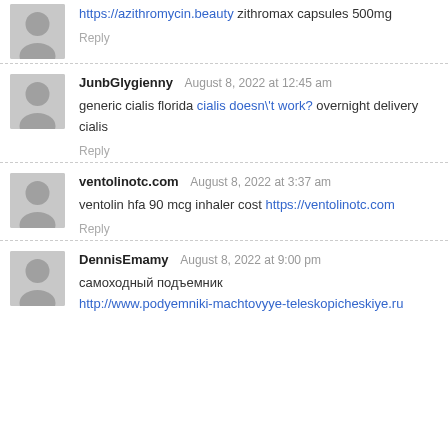https://azithromycin.beauty zithromax capsules 500mg
Reply
JunbGlygienny   August 8, 2022 at 12:45 am
generic cialis florida cialis doesn't work? overnight delivery cialis
Reply
ventolinotc.com   August 8, 2022 at 3:37 am
ventolin hfa 90 mcg inhaler cost https://ventolinotc.com
Reply
DennisEmamy   August 8, 2022 at 9:00 pm
самоходный подъемник
http://www.podyemniki-machtovyye-teleskopicheskiye.ru